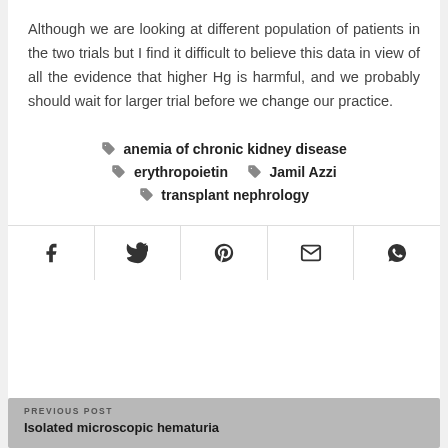Although we are looking at different population of patients in the two trials but I find it difficult to believe this data in view of all the evidence that higher Hg is harmful, and we probably should wait for larger trial before we change our practice.
anemia of chronic kidney disease
erythropoietin
Jamil Azzi
transplant nephrology
[Figure (infographic): Social share buttons: Facebook, Twitter, Pinterest, Email, WhatsApp]
PREVIOUS POST
Isolated microscopic hematuria